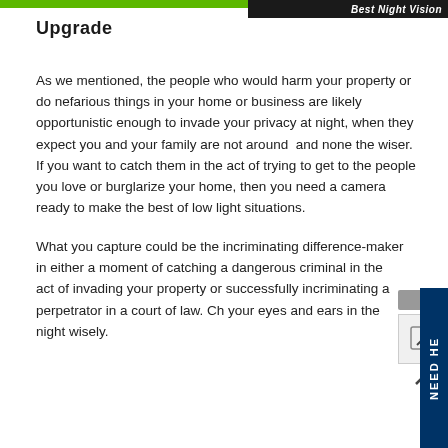Best Night Vision Upgrade
Upgrade
As we mentioned, the people who would harm your property or do nefarious things in your home or business are likely opportunistic enough to invade your privacy at night, when they expect you and your family are not around and none the wiser. If you want to catch them in the act of trying to get to the people you love or burglarize your home, then you need a camera ready to make the best of low light situations.
What you capture could be the incriminating difference-maker in either a moment of catching a dangerous criminal in the act of invading your property or successfully incriminating a perpetrator in a court of law. Ch your eyes and ears in the night wisely.